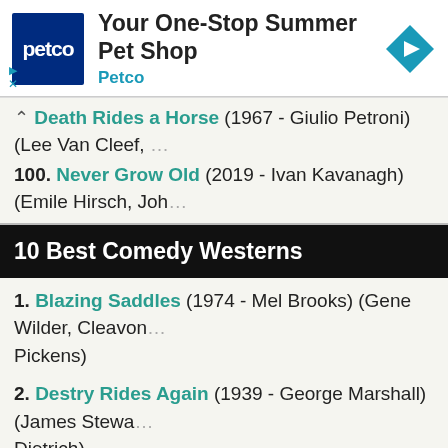[Figure (other): Petco advertisement banner: logo (blue square with 'petco'), heading 'Your One-Stop Summer Pet Shop', subheading 'Petco', and a teal diamond arrow icon on the right.]
... Death Rides a Horse (1967 - Giulio Petroni) (Lee Van Cleef, ...
100. Never Grow Old (2019 - Ivan Kavanagh) (Emile Hirsch, Joh...
10 Best Comedy Westerns
1. Blazing Saddles (1974 - Mel Brooks) (Gene Wilder, Cleavon ... Pickens)
2. Destry Rides Again (1939 - George Marshall) (James Stewar... Dietrich)
3. Support Your Local Sheriff (1969 - Burt Kennedy) (James G... Hackett)
4. McLintock! (1963 - Andrew V. McLaglen) (John Wayne, Maur... Patrick Wayne)